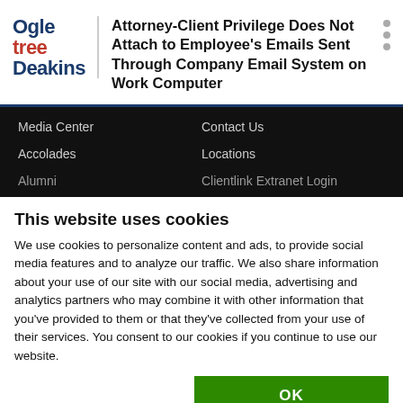Ogletree Deakins — Attorney-Client Privilege Does Not Attach to Employee's Emails Sent Through Company Email System on Work Computer
Media Center   Contact Us   Accolades   Locations   Alumni   Clientlink Extranet Login
This website uses cookies
We use cookies to personalize content and ads, to provide social media features and to analyze our traffic. We also share information about your use of our site with our social media, advertising and analytics partners who may combine it with other information that you've provided to them or that they've collected from your use of their services. You consent to our cookies if you continue to use our website.
OK
Necessary   Preferences   Statistics   Marketing   Show details